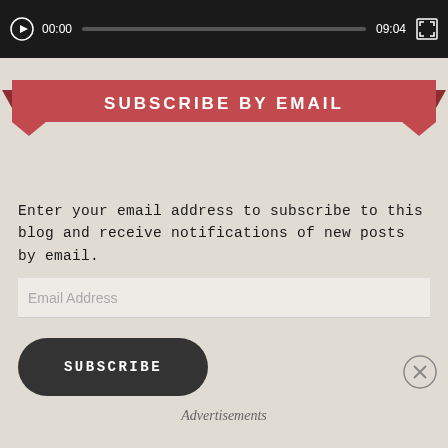[Figure (screenshot): Video player bar showing play button, 00:00 timestamp, progress bar, 09:04 end time, and fullscreen button on dark background]
SUBSCRIBE BY EMAIL
Enter your email address to subscribe to this blog and receive notifications of new posts by email.
Email Address
SUBSCRIBE
Advertisements